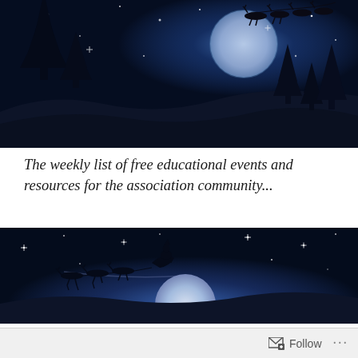[Figure (illustration): Christmas night scene illustration with dark blue sky, full moon, Santa's sleigh with reindeer silhouette flying across the top, pine tree silhouettes on left, rolling snow hills, and stars scattered across the sky.]
The weekly list of free educational events and resources for the association community...
[Figure (illustration): Christmas night scene illustration with dark blue sky, bright moon in center, Santa's sleigh with reindeer silhouette flying in front of the moon, stars scattered across the sky, and snow hills in the background.]